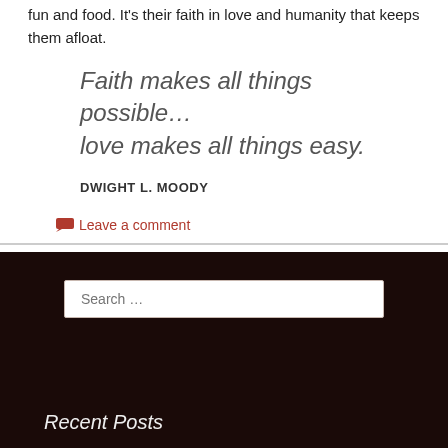fun and food. It's their faith in love and humanity that keeps them afloat.
Faith makes all things possible… love makes all things easy.
DWIGHT L. MOODY
Leave a comment
Recent Posts